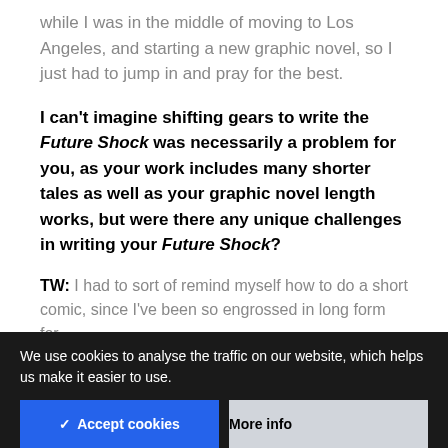while I was in the middle of moving to Los Angeles, and starting a new graphic novel, so I just had to jump in and pray for the best.
I can't imagine shifting gears to write the Future Shock was necessarily a problem for you, as your work includes many shorter tales as well as your graphic novel length works, but were there any unique challenges in writing your Future Shock?
TW: I had to sort of remind myself how to do a short comic, since I've been so engrossed in long form for
We use cookies to analyse the traffic on our website, which helps us make it easier to use.
✓ Accept cookies
More info